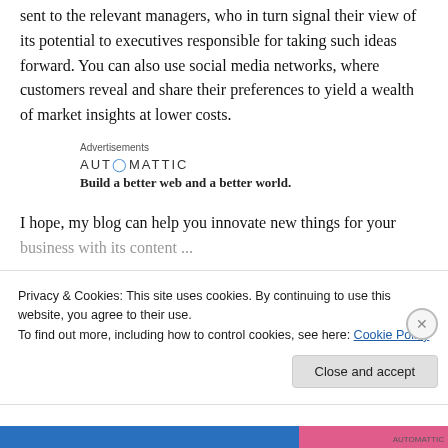sent to the relevant managers, who in turn signal their view of its potential to executives responsible for taking such ideas forward. You can also use social media networks, where customers reveal and share their preferences to yield a wealth of market insights at lower costs.
[Figure (other): Automattic advertisement banner: 'Advertisements' label, Automattic logo with blue circle O, tagline 'Build a better web and a better world.']
I hope, my blog can help you innovate new things for your business with its content...
Privacy & Cookies: This site uses cookies. By continuing to use this website, you agree to their use. To find out more, including how to control cookies, see here: Cookie Policy
Close and accept